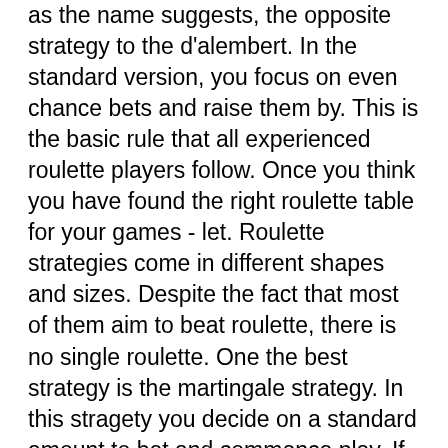as the name suggests, the opposite strategy to the d'alembert. In the standard version, you focus on even chance bets and raise them by. This is the basic rule that all experienced roulette players follow. Once you think you have found the right roulette table for your games - let. Roulette strategies come in different shapes and sizes. Despite the fact that most of them aim to beat roulette, there is no single roulette. One the best strategy is the martingale strategy. In this stragety you decide on a standard amount to bet and commence play. If you win, you either place. The vip roulette system is the most popular roulette strategy ever developed. It is easy to use and requires a small minimum bankroll. The french roulette has the best percentage of winning. The martingale roulette strategy is also called the double up method. The best 666 sequence is one in which you make small bets on all but